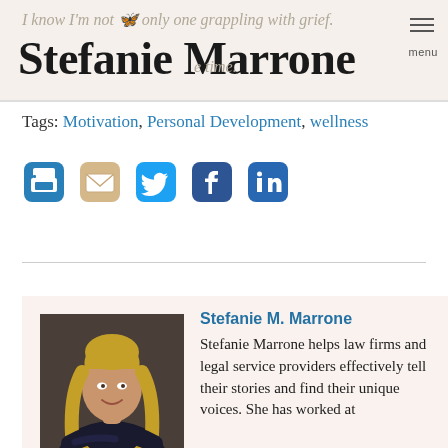I know I'm not the only one grappling with grief. Stefanie Marrone [logo] ...the time. menu
Tags: Motivation, Personal Development, wellness
[Figure (infographic): Social sharing icons row: print (blue printer icon), email (tan envelope icon), Twitter (cyan bird icon), Facebook (dark blue f icon), LinkedIn (blue in icon)]
Stefanie M. Marrone
[Figure (photo): Professional headshot of Stefanie Marrone, a woman with long wavy blonde hair, wearing a dark blazer, arms crossed, smiling, seated against a dark background.]
Stefanie Marrone helps law firms and legal service providers effectively tell their stories and find their unique voices. She has worked at